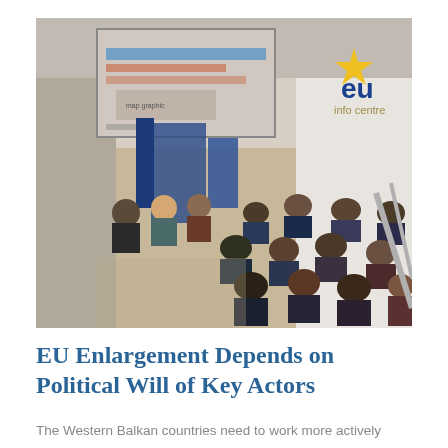[Figure (photo): Conference room at EU Info Centre photographed from above. Audience seated in rows facing a panel of speakers at the front. A large projection screen displays a presentation. EU Info Centre branding visible on the wall with a star and 'eu info centre' text in blue and gold.]
EU Enlargement Depends on Political Will of Key Actors
The Western Balkan countries need to work more actively